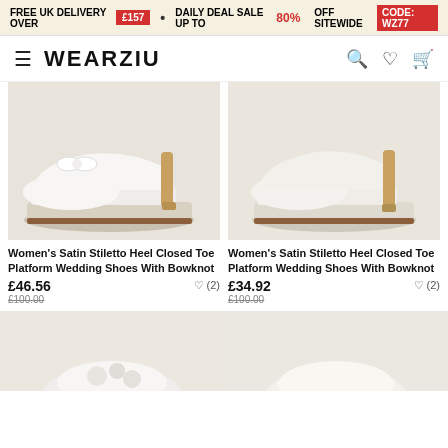FREE UK DELIVERY OVER £157 • DAILY DEAL SALE UP TO 80% OFF SITEWIDE CODE: WZ77
WEARZIU
[Figure (photo): White satin stiletto heel platform wedding shoe with bowknot, left side view]
Women's Satin Stiletto Heel Closed Toe Platform Wedding Shoes With Bowknot
£46.56
£100.00
[Figure (photo): Ivory/cream satin stiletto heel platform wedding shoe, left side view]
Women's Satin Stiletto Heel Closed Toe Platform Wedding Shoes With Bowknot
£34.92
£100.00
[Figure (photo): Partial view of white flat wedding shoes at bottom of page]